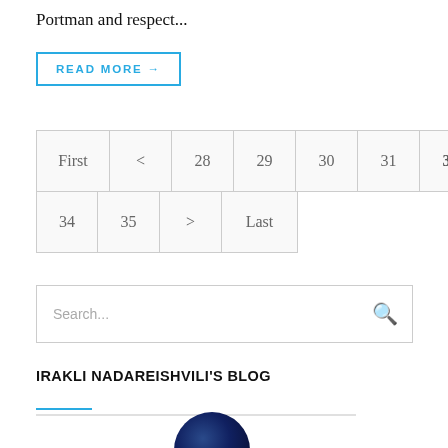Portman and respect...
READ MORE →
Pagination: First < 28 29 30 31 32 33 34 35 > Last
Search...
IRAKLI NADAREISHVILI'S BLOG
[Figure (photo): Circular avatar photo of a person against a dark blue background, partially visible at bottom of page]